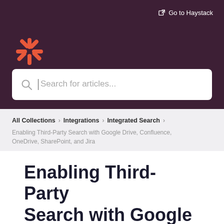Go to Haystack
[Figure (logo): Snowflake-style orange logo icon]
[Figure (screenshot): Search bar with placeholder text 'Search for articles...']
All Collections > Integrations > Integrated Search
Enabling Third-Party Search with Google Drive, Confluence, OneDrive, SharePoint, and Jira
Enabling Third-Party Search with Google Drive, Confluence,